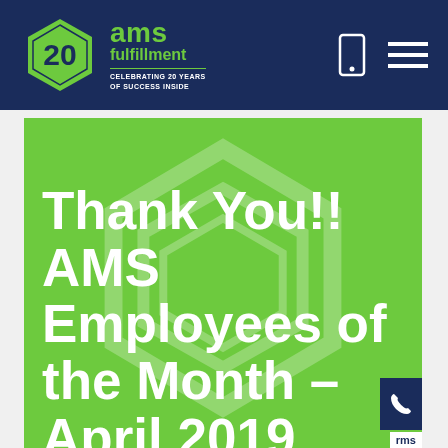[Figure (screenshot): AMS Fulfillment website screenshot showing the header with the 20th anniversary logo and navigation icons, and a green hero banner with white text reading 'Thank You!! AMS Employees of the Month – April 2019']
Thank You!! AMS Employees of the Month – April 2019